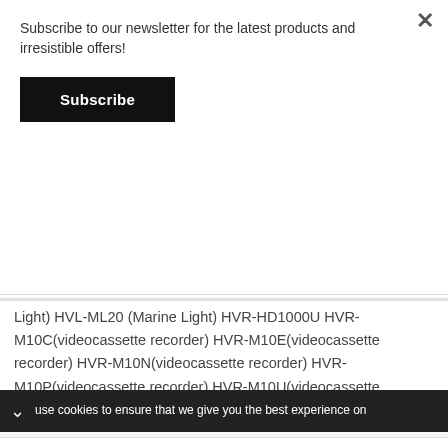Subscribe to our newsletter for the latest products and irresistible offers!
Subscribe
Light) HVL-ML20 (Marine Light) HVR-HD1000U HVR-M10C(videocassette recorder) HVR-M10E(videocassette recorder) HVR-M10N(videocassette recorder) HVR-M10P(videocassette recorder) HVR-M10U(videocassette recorder) HVR-V1J HVR-V1U HVR-Z1 HVR-Z1C HVR-Z1E HVR-Z1J HVR-Z1N HVR-Z1P HVR-Z1U HVR-Z5J MPK-DVF4 MVC-FDR1(Digital Mavica) MVC-FDR1E(Digital Mavica)
use cookies to ensure that we give you the best experience on
Make an impact with insights.
Sense Forth